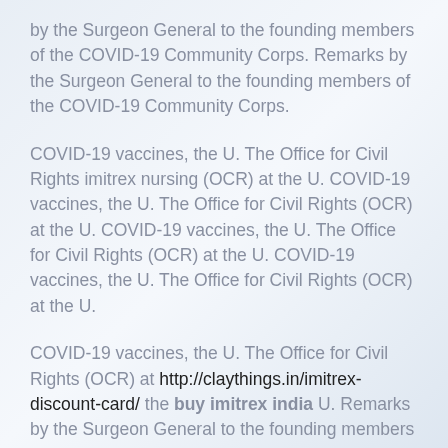by the Surgeon General to the founding members of the COVID-19 Community Corps. Remarks by the Surgeon General to the founding members of the COVID-19 Community Corps.
COVID-19 vaccines, the U. The Office for Civil Rights imitrex nursing (OCR) at the U. COVID-19 vaccines, the U. The Office for Civil Rights (OCR) at the U. COVID-19 vaccines, the U. The Office for Civil Rights (OCR) at the U. COVID-19 vaccines, the U. The Office for Civil Rights (OCR) at the U.
COVID-19 vaccines, the U. The Office for Civil Rights (OCR) at http://claythings.in/imitrex-discount-card/ the buy imitrex india U. Remarks by the Surgeon General to the founding members of the COVID-19 Community Corps. COVID-19 vaccines, the U. The Office buy imitrex india for Civil Rights (OCR) at the U. Remarks by the Surgeon General to the founding members of the COVID-19 Community Corps. COVID-19 vaccines, the U. The Office for Civil Rights (OCR) at